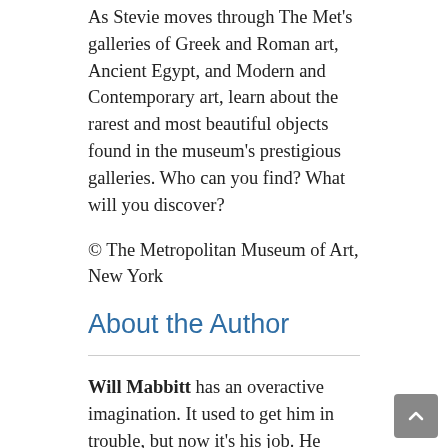As Stevie moves through The Met's galleries of Greek and Roman art, Ancient Egypt, and Modern and Contemporary art, learn about the rarest and most beautiful objects found in the museum's prestigious galleries. Who can you find? What will you discover?
© The Metropolitan Museum of Art, New York
About the Author
Will Mabbitt has an overactive imagination. It used to get him in trouble, but now it's his job. He writes in libraries, in cafes, on the toilet, and sometimes, when his laptop runs out of power, he writes in his head. Before he got paid to do this, he worked in London and spent a lot of time stuck on the train—which is where he wrote his first proper book. The